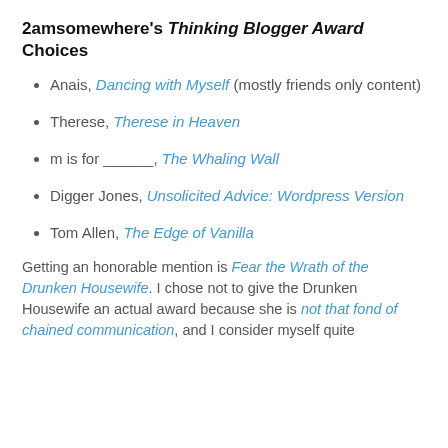2amsomewhere's Thinking Blogger Award Choices
Anais, Dancing with Myself (mostly friends only content)
Therese, Therese in Heaven
m is for ______, The Whaling Wall
Digger Jones, Unsolicited Advice: Wordpress Version
Tom Allen, The Edge of Vanilla
Getting an honorable mention is Fear the Wrath of the Drunken Housewife. I chose not to give the Drunken Housewife an actual award because she is not that fond of chained communication, and I consider myself quite